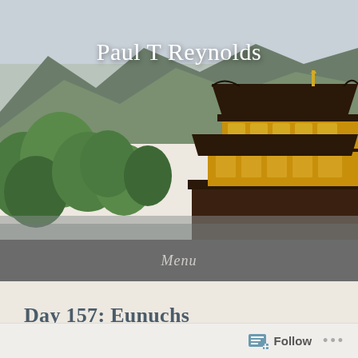[Figure (photo): Hero banner photograph of a Japanese golden pavilion temple (Kinkaku-ji) with green trees, mountains in the background, and overcast sky]
Paul T Reynolds
Menu
Day 157: Eunuchs
Posted on January 7, 2021 by Paul Reynolds
Follow ...